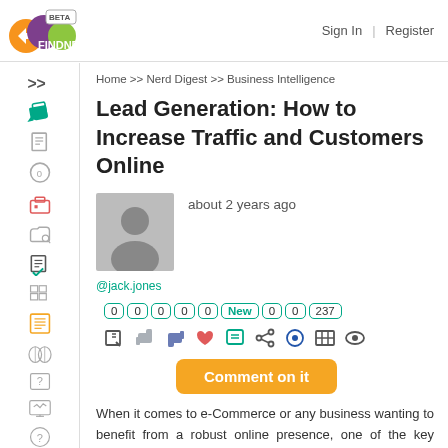FINDNERD BETA | Sign In | Register
Home >> Nerd Digest >> Business Intelligence
Lead Generation: How to Increase Traffic and Customers Online
about 2 years ago
@jack.jones
0 0 0 0 0 New 0 0 237
Comment on it
When it comes to e-Commerce or any business wanting to benefit from a robust online presence, one of the key metrics to track is lead generation. Lead generation refers to the process of converting your online visitors into